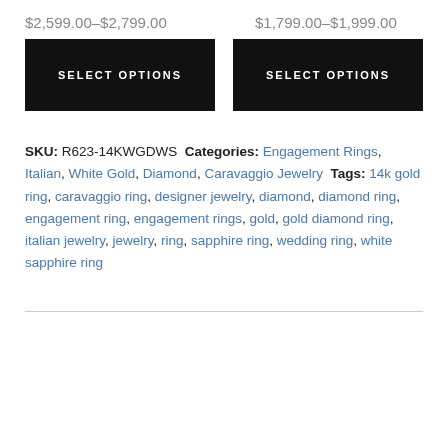$2,599.00–$2,799.00   $1,799.00–$1,999.00
SELECT OPTIONS   SELECT OPTIONS
SKU: R623-14KWGDWS Categories: Engagement Rings, Italian, White Gold, Diamond, Caravaggio Jewelry Tags: 14k gold ring, caravaggio ring, designer jewelry, diamond, diamond ring, engagement ring, engagement rings, gold, gold diamond ring, italian jewelry, jewelry, ring, sapphire ring, wedding ring, white sapphire ring